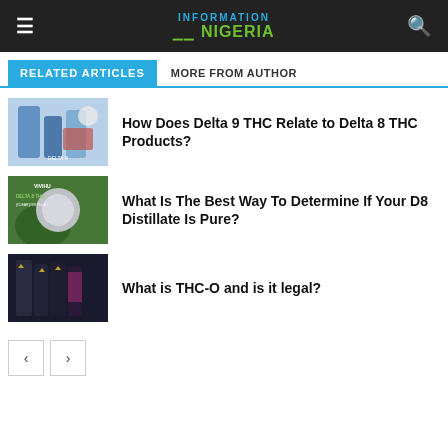INFORMATION NIGERIA
RELATED ARTICLES | MORE FROM AUTHOR
[Figure (photo): Product image for Delta 9 THC / Delta 8 THC article]
How Does Delta 9 THC Relate to Delta 8 THC Products?
[Figure (photo): VIVIHU Delta 8 THC Clear Distillate product image]
What Is The Best Way To Determine If Your D8 Distillate Is Pure?
[Figure (photo): THC-O product lineup image]
What is THC-O and is it legal?